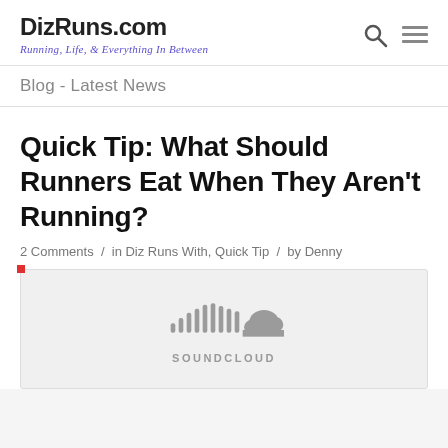DizRuns.com — Running, Life, & Everything In Between
Blog - Latest News
Quick Tip: What Should Runners Eat When They Aren't Running?
2 Comments / in Diz Runs With, Quick Tip / by Denny
[Figure (logo): SoundCloud embedded player placeholder showing the SoundCloud logo (sound waves icon + cloud icon) with SOUNDCLOUD wordmark in grey on a light grey background.]